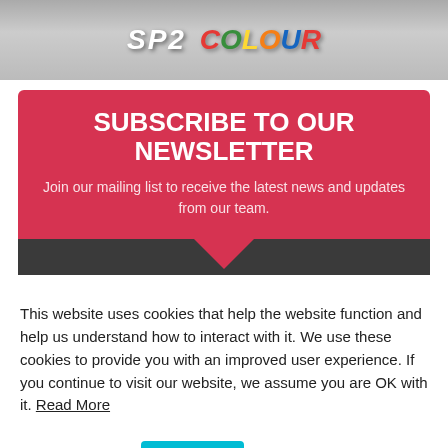[Figure (logo): SP2 COLOUR logo on grey gradient background]
SUBSCRIBE TO OUR NEWSLETTER
Join our mailing list to receive the latest news and updates from our team.
This website uses cookies that help the website function and help us understand how to interact with it. We use these cookies to provide you with an improved user experience. If you continue to visit our website, we assume you are OK with it. Read More
Cookie settings  Got It!